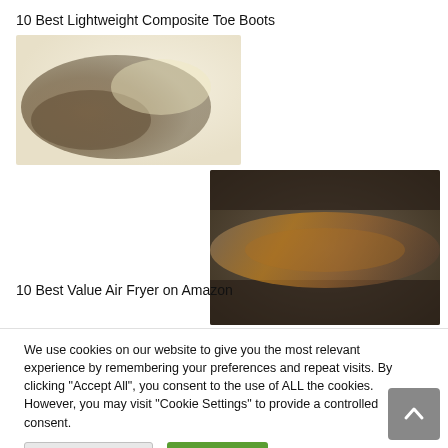10 Best Lightweight Composite Toe Boots
[Figure (photo): Blurred/placeholder image of lightweight composite toe boots on a light beige/cream background]
[Figure (photo): Blurred/placeholder image of an air fryer on a dark brownish-olive background]
10 Best Value Air Fryer on Amazon
We use cookies on our website to give you the most relevant experience by remembering your preferences and repeat visits. By clicking “Accept All”, you consent to the use of ALL the cookies. However, you may visit "Cookie Settings" to provide a controlled consent.